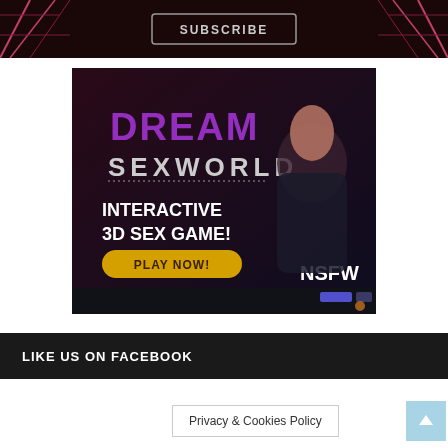[Figure (screenshot): Dark banner with SUBSCRIBE button and pink geometric decorations on left and right sides]
[Figure (illustration): Dream SexWorld advertisement banner showing animated female character with text INTERACTIVE 3D SEX GAME! PLAY NOW! NSFW]
LIKE US ON FACEBOOK
Privacy & Cookies Policy